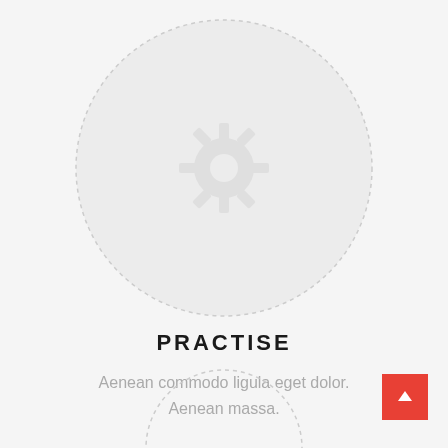[Figure (illustration): A large dashed-border circle with a faint gear/settings icon silhouette in the center, on a light gray background.]
PRACTISE
Aenean commodo ligula eget dolor. Aenean massa.
[Figure (illustration): Partial dashed-border circle visible at the bottom edge of the page, cropped.]